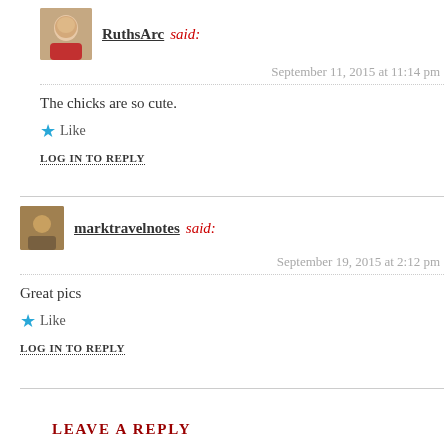RuthsArc said:
September 11, 2015 at 11:14 pm
The chicks are so cute.
Like
LOG IN TO REPLY
marktravelnotes said:
September 19, 2015 at 2:12 pm
Great pics
Like
LOG IN TO REPLY
LEAVE A REPLY